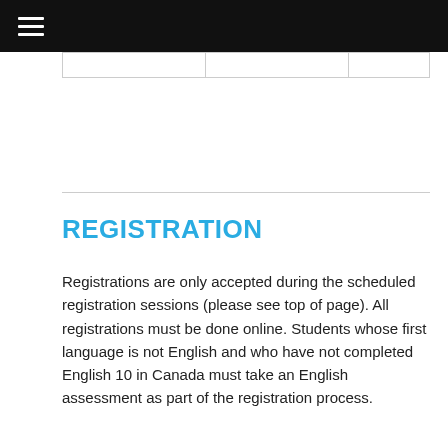|   |   |   |
REGISTRATION
Registrations are only accepted during the scheduled registration sessions (please see top of page). All registrations must be done online. Students whose first language is not English and who have not completed English 10 in Canada must take an English assessment as part of the registration process.